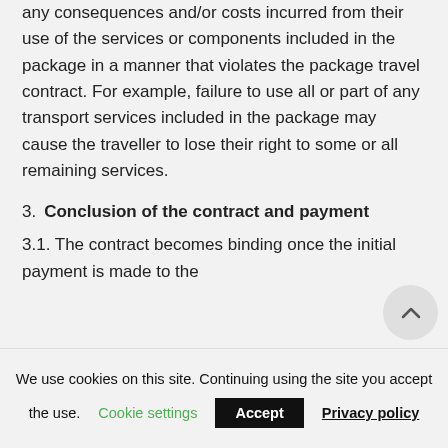any consequences and/or costs incurred from their use of the services or components included in the package in a manner that violates the package travel contract. For example, failure to use all or part of any transport services included in the package may cause the traveller to lose their right to some or all remaining services.
3. Conclusion of the contract and payment
3.1. The contract becomes binding once the initial payment is made to the
We use cookies on this site. Continuing using the site you accept the use. Cookie settings Accept Privacy policy